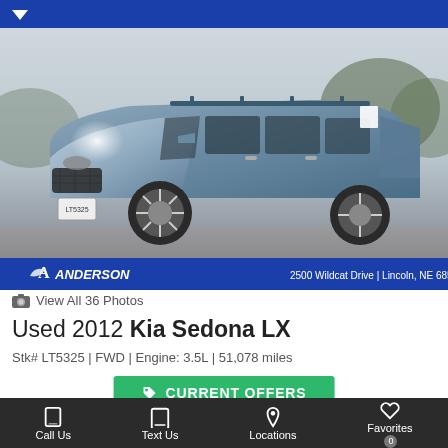[Figure (photo): 2012 Kia Sedona LX minivan in blue-gray color, parked on pavement with trees in background. Dealer banner at bottom: Anderson logo on left, '2500 Wildcat Drive | Lincoln, NE 68521' on right.]
View All 36 Photos
Used 2012 Kia Sedona LX
Stk# LT5325 | FWD | Engine: 3.5L | 51,078 miles
CURRENT OFFERS
Get Anderson Price:
$12,000